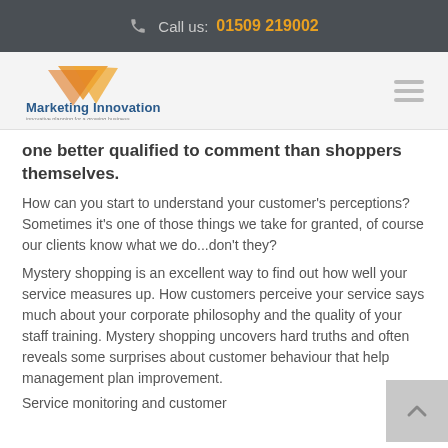Call us: 01509 219002
[Figure (logo): Marketing Innovation logo with orange triangle graphic and blue company name text]
one better qualified to comment than shoppers themselves.
How can you start to understand your customer's perceptions? Sometimes it's one of those things we take for granted, of course our clients know what we do...don't they?
Mystery shopping is an excellent way to find out how well your service measures up. How customers perceive your service says much about your corporate philosophy and the quality of your staff training. Mystery shopping uncovers hard truths and often reveals some surprises about customer behaviour that help management plan improvement.
Service monitoring and customer